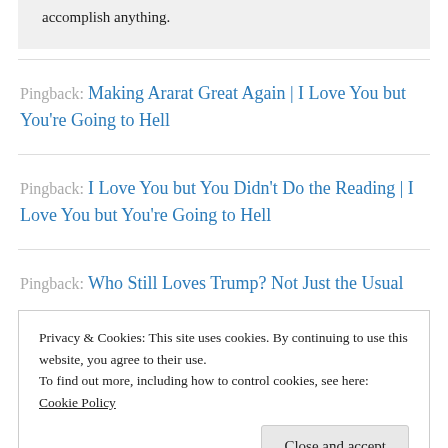accomplish anything.
Pingback: Making Ararat Great Again | I Love You but You're Going to Hell
Pingback: I Love You but You Didn't Do the Reading | I Love You but You're Going to Hell
Pingback: Who Still Loves Trump? Not Just the Usual
Privacy & Cookies: This site uses cookies. By continuing to use this website, you agree to their use. To find out more, including how to control cookies, see here: Cookie Policy
Close and accept